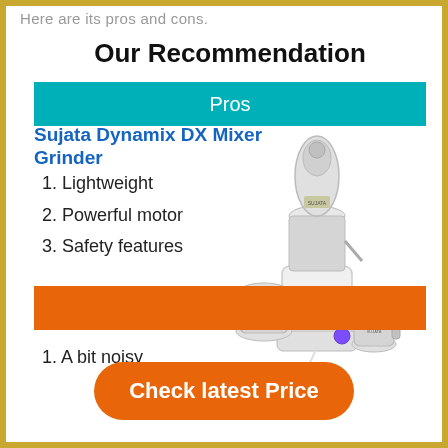Here are its pros and cons.
Our Recommendation
Pros
Sujata Dynamix DX Mixer Grinder
1. Lightweight
2. Powerful motor
3. Safety features
[Figure (photo): Sujata Dynamix DX Mixer Grinder product photo showing the mixer grinder with multiple jars and juicer attachment]
Cons
1. A bit noisy
Check latest Price